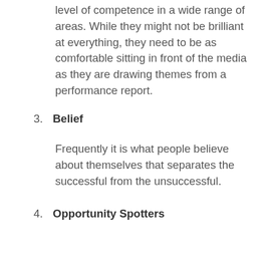level of competence in a wide range of areas. While they might not be brilliant at everything, they need to be as comfortable sitting in front of the media as they are drawing themes from a performance report.
3. Belief
Frequently it is what people believe about themselves that separates the successful from the unsuccessful.
4. Opportunity Spotters